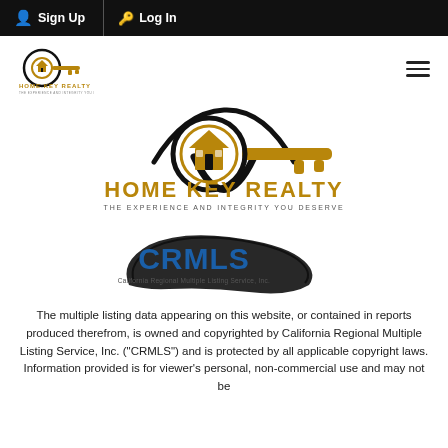Sign Up  Log In
[Figure (logo): Home Key Realty small logo with key icon and text: HOME KEY REALTY, THE EXPERIENCE AND INTEGRITY YOU DESERVE]
[Figure (logo): Large Home Key Realty logo centered: key icon with house, HOME KEY REALTY, THE EXPERIENCE AND INTEGRITY YOU DESERVE]
[Figure (logo): CRMLS California Regional Multiple Listing Service, Inc. logo]
The multiple listing data appearing on this website, or contained in reports produced therefrom, is owned and copyrighted by California Regional Multiple Listing Service, Inc. ("CRMLS") and is protected by all applicable copyright laws. Information provided is for viewer's personal, non-commercial use and may not be